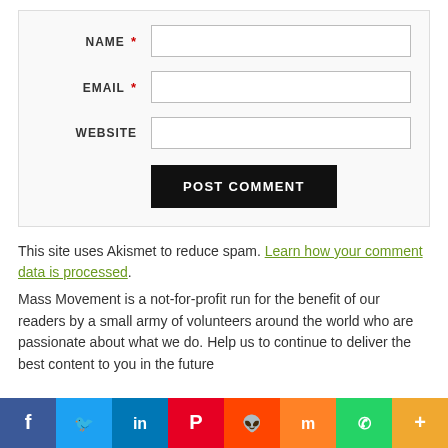NAME * [input field]
EMAIL * [input field]
WEBSITE [input field]
POST COMMENT [button]
This site uses Akismet to reduce spam. Learn how your comment data is processed. Mass Movement is a not-for-profit run for the benefit of our readers by a small army of volunteers around the world who are passionate about what we do. Help us to continue to deliver the best content to you in the future
[Figure (infographic): Social sharing bar with icons for Facebook, Twitter, LinkedIn, Pinterest, Reddit, Mix, WhatsApp, and More]